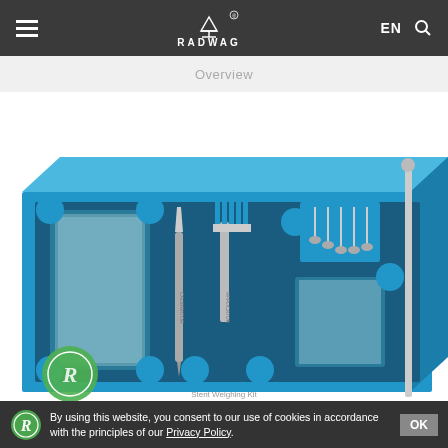RADWAG [logo] EN [search]
Overview
[Figure (photo): Blue foam-lined carrying case containing precision weighing instruments including glass plates, tweezers, a comb/fork-style weight handler, small hook weights, and a rod — Stent Weighing Kit by RADWAG]
By using this website, you consent to our use of cookies in accordance with the principles of our Privacy Policy.
OK